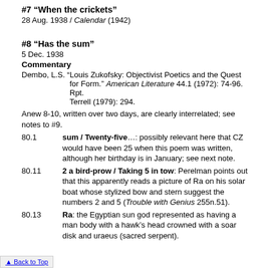#7 “When the crickets”
28 Aug. 1938 / Calendar (1942)
#8 “Has the sum”
5 Dec. 1938
Commentary
Dembo, L.S. “Louis Zukofsky: Objectivist Poetics and the Quest for Form.” American Literature 44.1 (1972): 74-96. Rpt. Terrell (1979): 294.
Anew 8-10, written over two days, are clearly interrelated; see notes to #9.
80.1   sum / Twenty-five…: possibly relevant here that CZ would have been 25 when this poem was written, although her birthday is in January; see next note.
80.11   2 a bird-prow / Taking 5 in tow: Perelman points out that this apparently reads a picture of Ra on his solar boat whose stylized bow and stern suggest the numbers 2 and 5 (Trouble with Genius 255n.51).
80.13   Ra: the Egyptian sun god represented as having a man body with a hawk’s head crowned with a soar disk and uraeus (sacred serpent).
Back to Top